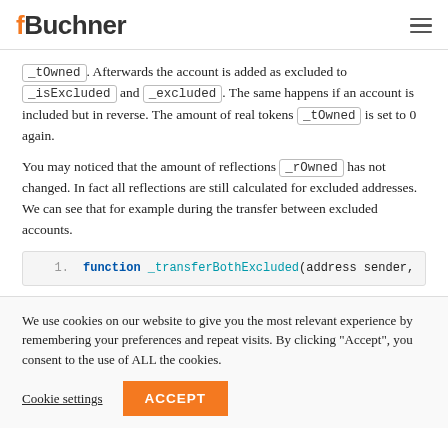fBuchner
_tOwned. Afterwards the account is added as excluded to _isExcluded and _excluded. The same happens if an account is included but in reverse. The amount of real tokens _tOwned is set to 0 again.
You may noticed that the amount of reflections _rOwned has not changed. In fact all reflections are still calculated for excluded addresses. We can see that for example during the transfer between excluded accounts.
[Figure (screenshot): Code block showing: 1. function _transferBothExcluded(address sender,]
We use cookies on our website to give you the most relevant experience by remembering your preferences and repeat visits. By clicking "Accept", you consent to the use of ALL the cookies.
Cookie settings  ACCEPT